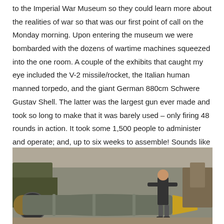to the Imperial War Museum so they could learn more about the realities of war so that was our first point of call on the Monday morning. Upon entering the museum we were bombarded with the dozens of wartime machines squeezed into the one room. A couple of the exhibits that caught my eye included the V-2 missile/rocket, the Italian human manned torpedo, and the giant German 880cm Schwere Gustav Shell. The latter was the largest gun ever made and took so long to make that it was barely used – only firing 48 rounds in action. It took some 1,500 people to administer and operate; and, up to six weeks to assemble! Sounds like a bit of a lemon to me.
[Figure (photo): A child standing next to a large wartime weapon/torpedo exhibit inside the Imperial War Museum. Military vehicles and equipment visible in the background.]